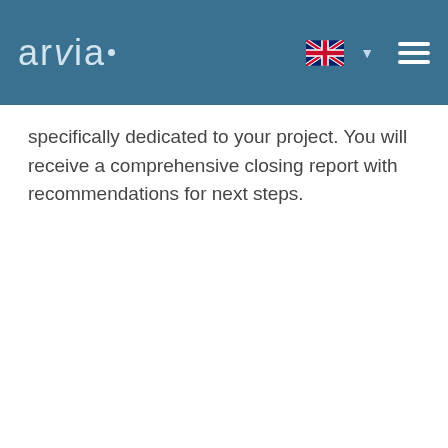arvia
specifically dedicated to your project. You will receive a comprehensive closing report with recommendations for next steps.